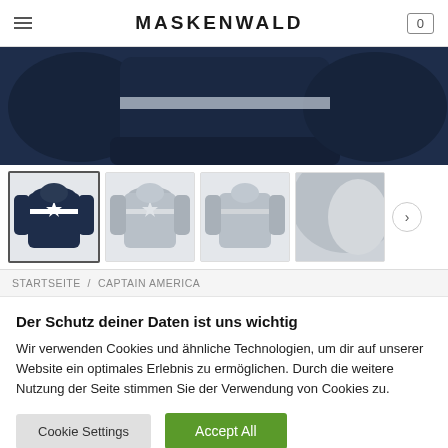MASKENWALD
[Figure (photo): Close-up of a dark navy hoodie sweatshirt, showing the bottom hem and sleeves]
[Figure (photo): Four thumbnail product images of a Captain America hoodie: front view (selected, dark navy with star), front view (grey), back view (grey), and hood detail (grey)]
STARTSEITE / CAPTAIN AMERICA
Der Schutz deiner Daten ist uns wichtig
Wir verwenden Cookies und ähnliche Technologien, um dir auf unserer Website ein optimales Erlebnis zu ermöglichen. Durch die weitere Nutzung der Seite stimmen Sie der Verwendung von Cookies zu.
Cookie Settings | Accept All